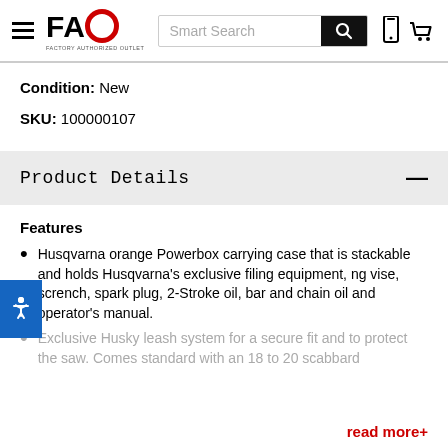FAO Factory Authorized Outlet — Smart Search header with navigation icons
Condition: New
SKU: 100000107
Product Details
Features
Husqvarna orange Powerbox carrying case that is stackable and holds Husqvarna's exclusive filing equipment, ng vise, scrench, spark plug, 2-Stroke oil, bar and chain oil and operator's manual.
Exclusive Husky leash system for a secure fit and to protect the saw. Comes standard with an 18 to 20 scabbard
read more+